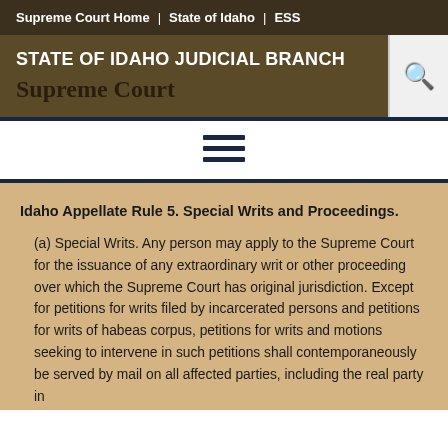Supreme Court Home | State of Idaho | ESS
STATE OF IDAHO JUDICIAL BRANCH
Supreme Court
[Figure (other): Hamburger menu icon (three horizontal dark navy lines)]
Idaho Appellate Rule 5. Special Writs and Proceedings.
(a) Special Writs. Any person may apply to the Supreme Court for the issuance of any extraordinary writ or other proceeding over which the Supreme Court has original jurisdiction. Except for petitions for writs filed by incarcerated persons and petitions for writs of habeas corpus, petitions for writs and motions seeking to intervene in such petitions shall contemporaneously be served by mail on all affected parties, including the real party in